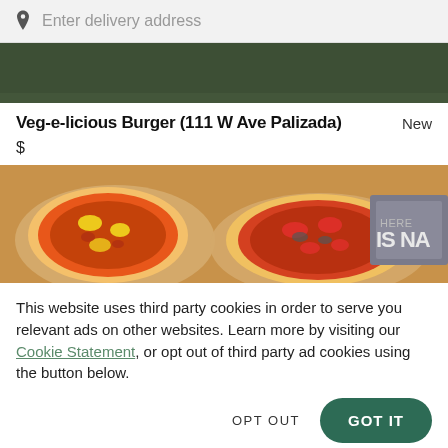Enter delivery address
[Figure (photo): Dark olive green banner image at top of restaurant listing]
Veg-e-licious Burger (111 W Ave Palizada)    New
$
[Figure (photo): Photo of two pizzas on wooden boards on a table, with a sign partially visible reading 'THERE IS NA']
This website uses third party cookies in order to serve you relevant ads on other websites. Learn more by visiting our Cookie Statement, or opt out of third party ad cookies using the button below.
OPT OUT   GOT IT